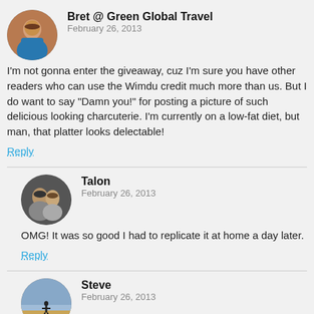Bret @ Green Global Travel
February 26, 2013
I'm not gonna enter the giveaway, cuz I'm sure you have other readers who can use the Wimdu credit much more than us. But I do want to say "Damn you!" for posting a picture of such delicious looking charcuterie. I'm currently on a low-fat diet, but man, that platter looks delectable!
Reply
Talon
February 26, 2013
OMG! It was so good I had to replicate it at home a day later.
Reply
Steve
February 26, 2013
The charcuterie was the first thing I focused on as well, but this is a helpful giveaway – I can attest that staying in an apartment is a great way to experience